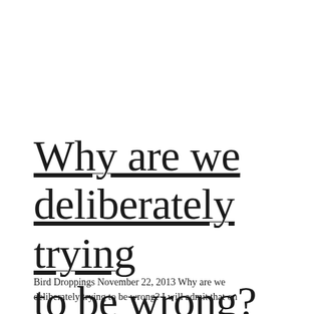Why are we deliberately trying to be wrong?
Bird Droppings November 22, 2013 Why are we deliberately trying to be wrong? I will admit that on